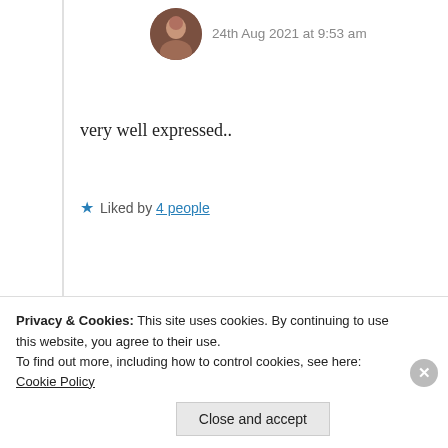[Figure (photo): Small circular avatar photo of a person at top of comment thread]
24th Aug 2021 at 9:53 am
very well expressed..
★ Liked by 4 people
Log in to Reply
[Figure (photo): Circular avatar photo of Suma Reddy]
Suma Reddy
24th Aug 2021 at 7:49 pm
Privacy & Cookies: This site uses cookies. By continuing to use this website, you agree to their use.
To find out more, including how to control cookies, see here: Cookie Policy
Close and accept